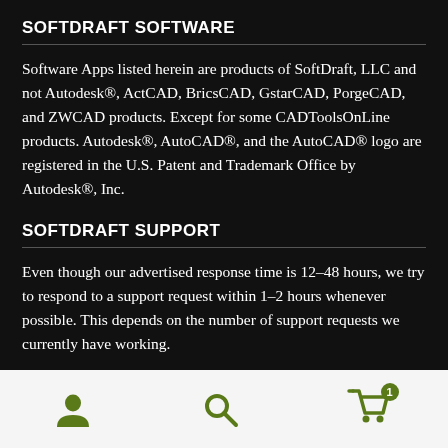SOFTDRAFT SOFTWARE
Software Apps listed herein are products of SoftDraft, LLC and not Autodesk®, ActCAD, BricsCAD, GstarCAD, PorgeCAD, and ZWCAD products. Except for some CADToolsOnLine products. Autodesk®, AutoCAD®, and the AutoCAD® logo are registered in the U.S. Patent and Trademark Office by Autodesk®, Inc.
SOFTDRAFT SUPPORT
Even though our advertised response time is 12–48 hours, we try to respond to a support request within 1–2 hours whenever possible. This depends on the number of support requests we currently have working.
[Figure (infographic): Bottom navigation bar with three dark olive/green icons: a user/person icon on the left, a search/magnifying glass icon in the center, and a shopping cart icon with a badge showing '1' on the right.]